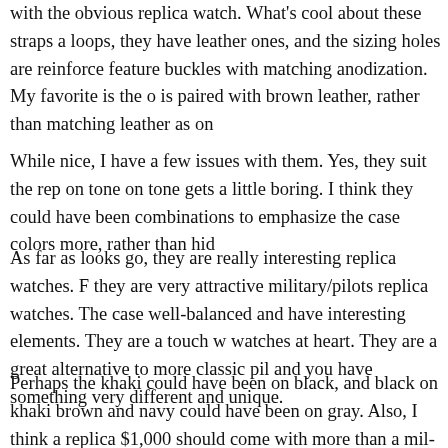with the obvious replica watch. What's cool about these straps a loops, they have leather ones, and the sizing holes are reinforce feature buckles with matching anodization. My favorite is the o is paired with brown leather, rather than matching leather as on
While nice, I have a few issues with them. Yes, they suit the rep on tone on tone gets a little boring. I think they could have been combinations to emphasize the case colors more, rather than hid
As far as looks go, they are really interesting replica watches. F they are very attractive military/pilots replica watches. The case well-balanced and have interesting elements. They are a touch w watches at heart. They are a great alternative to more classic pil and you have something very different and unique.
Perhaps the khaki could have been on black, and black on khak brown and navy could have been on gray. Also, I think a replica $1,000 should come with more than a mil-strap. So perhaps they